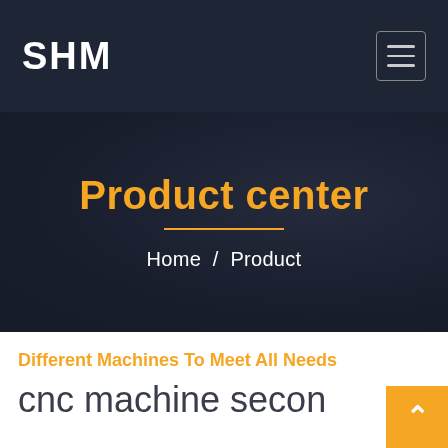SHM
Product center
Home / Product
Different Machines To Meet All Needs
cnc machine secon